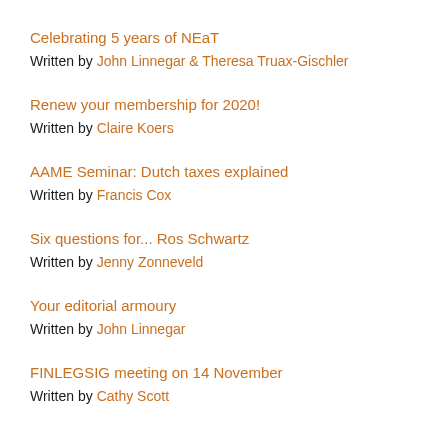Celebrating 5 years of NEaT
Written by John Linnegar & Theresa Truax-Gischler
Renew your membership for 2020!
Written by Claire Koers
AAME Seminar: Dutch taxes explained
Written by Francis Cox
Six questions for... Ros Schwartz
Written by Jenny Zonneveld
Your editorial armoury
Written by John Linnegar
FINLEGSIG meeting on 14 November
Written by Cathy Scott